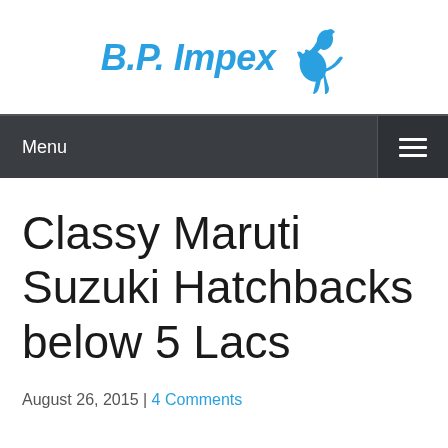[Figure (logo): B.P. Impex logo with blue italic bold text and a blue rearing horse icon to the right]
Menu
Classy Maruti Suzuki Hatchbacks below 5 Lacs
August 26, 2015 | 4 Comments